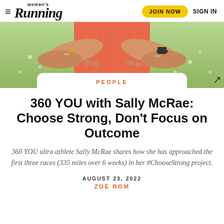Women's Running — JOIN NOW   SIGN IN
[Figure (photo): Hero image: close-up of person wearing salmon/coral top with hands resting on waist, green grass background. White card overlay shows 'PEOPLE' category label with expand icon arrow.]
360 YOU with Sally McRae: Choose Strong, Don't Focus on Outcome
360 YOU ultra athlete Sally McRae shares how she has approached the first three races (335 miles over 6 weeks) in her #ChooseStrong project.
AUGUST 23, 2022
ZOË ROM